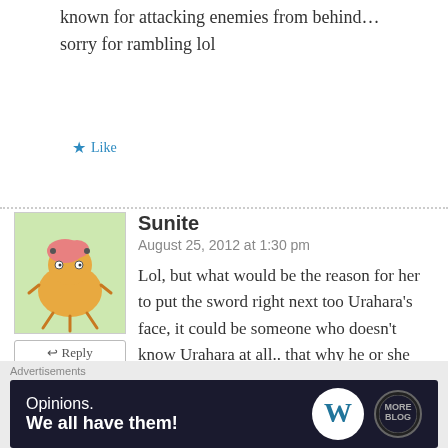known for attacking enemies from behind… sorry for rambling lol
Like
Sunite
August 25, 2012 at 1:30 pm
Lol, but what would be the reason for her to put the sword right next too Urahara's face, it could be someone who doesn't know Urahara at all.. that why he or she points the sword at Urahara.
Like
Advertisements
[Figure (screenshot): Advertisement banner: dark background with text 'Opinions. We all have them!' and WordPress logo]